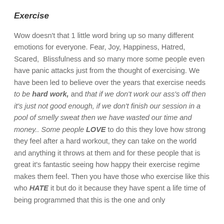Exercise
Wow doesn't that 1 little word bring up so many different emotions for everyone. Fear, Joy, Happiness, Hatred, Scared,  Blissfulness and so many more some people even have panic attacks just from the thought of exercising. We have been led to believe over the years that exercise needs to be hard work, and that if we don't work our ass's off then it's just not good enough, if we don't finish our session in a pool of smelly sweat then we have wasted our time and money.. Some people LOVE to do this they love how strong they feel after a hard workout, they can take on the world and anything it throws at them and for these people that is great it's fantastic seeing how happy their exercise regime makes them feel. Then you have those who exercise like this who HATE it but do it because they have spent a life time of being programmed that this is the one and only